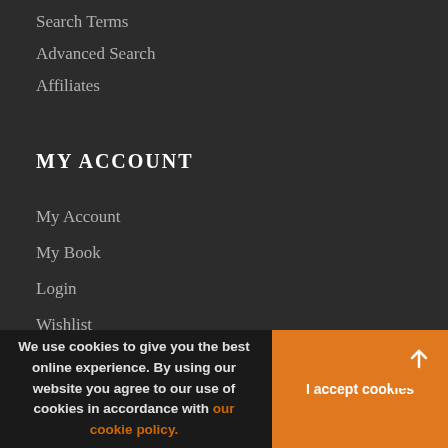Search Terms
Advanced Search
Affiliates
MY ACCOUNT
My Account
My Book
Login
Wishlist
Perchases
We use cookies to give you the best online experience. By using our website you agree to our use of cookies in accordance with our cookie policy.